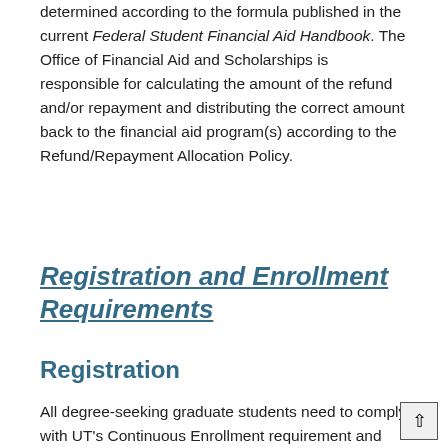determined according to the formula published in the current Federal Student Financial Aid Handbook. The Office of Financial Aid and Scholarships is responsible for calculating the amount of the refund and/or repayment and distributing the correct amount back to the financial aid program(s) according to the Refund/Repayment Allocation Policy.
Registration and Enrollment Requirements
Registration
All degree-seeking graduate students need to comply with UT's Continuous Enrollment requirement and are